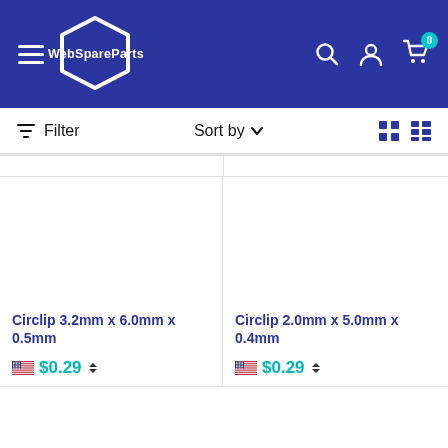WebSpareParts - navigation header with hamburger menu, logo, search, account, and cart icons
Filter  Sort by  (grid/list view toggle)
Circlip 3.2mm x 6.0mm x 0.5mm  $0.29
Circlip 2.0mm x 5.0mm x 0.4mm  $0.29